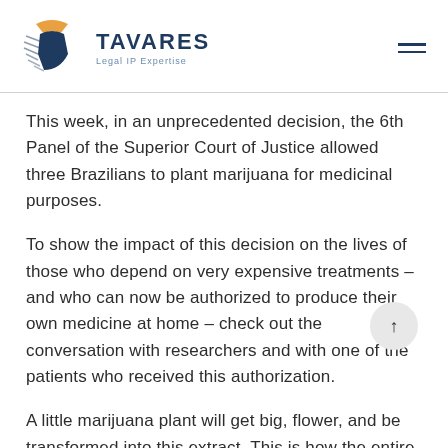TAVARES Legal IP Expertise
This week, in an unprecedented decision, the 6th Panel of the Superior Court of Justice allowed three Brazilians to plant marijuana for medicinal purposes.
To show the impact of this decision on the lives of those who depend on very expensive treatments – and who can now be authorized to produce their own medicine at home – check out the conversation with researchers and with one of the patients who received this authorization.
A little marijuana plant will get big, flower, and be transformed into this extract. This is how the entire production is controlled by a 27-year-old who lives in